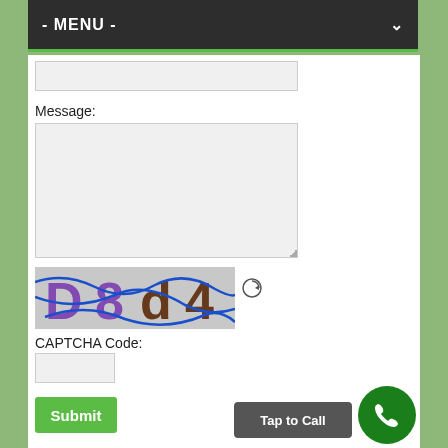- MENU -
Message:
[Figure (screenshot): CAPTCHA image showing characters D8 d4 with blue wavy lines overlaid on a gray textured background]
CAPTCHA Code:
Submit
Tap to Call